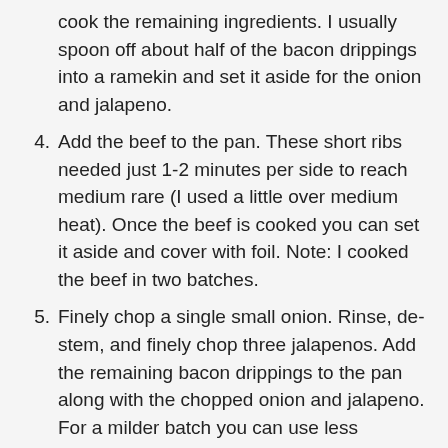cook the remaining ingredients. I usually spoon off about half of the bacon drippings into a ramekin and set it aside for the onion and jalapeno.
4. Add the beef to the pan. These short ribs needed just 1-2 minutes per side to reach medium rare (I used a little over medium heat). Once the beef is cooked you can set it aside and cover with foil. Note: I cooked the beef in two batches.
5. Finely chop a single small onion. Rinse, de-stem, and finely chop three jalapenos. Add the remaining bacon drippings to the pan along with the chopped onion and jalapeno. For a milder batch you can use less jalapeno or even a green pepper.